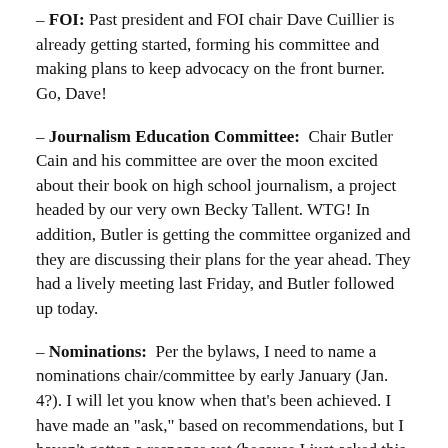– FOI: Past president and FOI chair Dave Cuillier is already getting started, forming his committee and making plans to keep advocacy on the front burner. Go, Dave!
– Journalism Education Committee: Chair Butler Cain and his committee are over the moon excited about their book on high school journalism, a project headed by our very own Becky Tallent. WTG! In addition, Butler is getting the committee organized and they are discussing their plans for the year ahead. They had a lively meeting last Friday, and Butler followed up today.
– Nominations: Per the bylaws, I need to name a nominations chair/committee by early January (Jan. 4?). I will let you know when that's been achieved. I have made an "ask," based on recommendations, but I haven't gotten a response yet (because I just asked this person about 30 minutes ago).